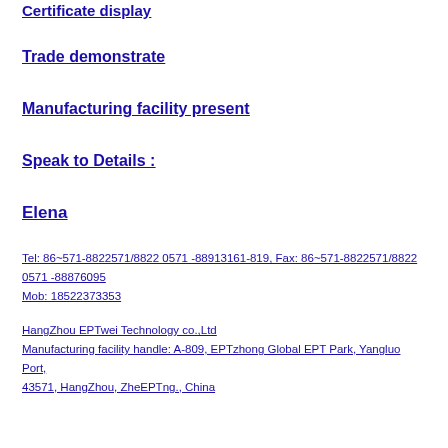Certificate display
Trade demonstrate
Manufacturing facility present
Speak to Details :
Elena
Tel: 86~571-8822571/8822 0571 -88913161-819, Fax: 86~571-8822571/8822 0571 -88876095
Mob: 18522373353
HangZhou EPTwei Technology co.,Ltd
Manufacturing facility handle: A-809, EPTzhong Global EPT Park, Yangluo Port,
43571, HangZhou, ZheEPTng., China